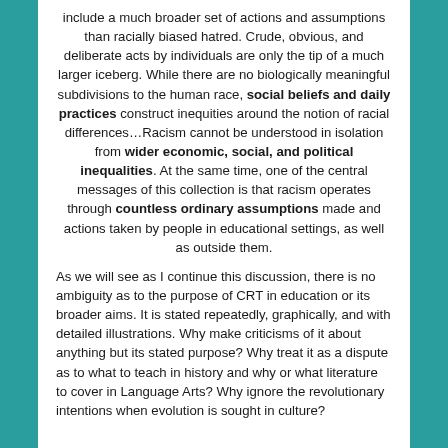include a much broader set of actions and assumptions than racially biased hatred. Crude, obvious, and deliberate acts by individuals are only the tip of a much larger iceberg. While there are no biologically meaningful subdivisions to the human race, social beliefs and daily practices construct inequities around the notion of racial differences…Racism cannot be understood in isolation from wider economic, social, and political inequalities. At the same time, one of the central messages of this collection is that racism operates through countless ordinary assumptions made and actions taken by people in educational settings, as well as outside them.
As we will see as I continue this discussion, there is no ambiguity as to the purpose of CRT in education or its broader aims. It is stated repeatedly, graphically, and with detailed illustrations. Why make criticisms of it about anything but its stated purpose? Why treat it as a dispute as to what to teach in history and why or what literature to cover in Language Arts? Why ignore the revolutionary intentions when evolution is sought in culture?